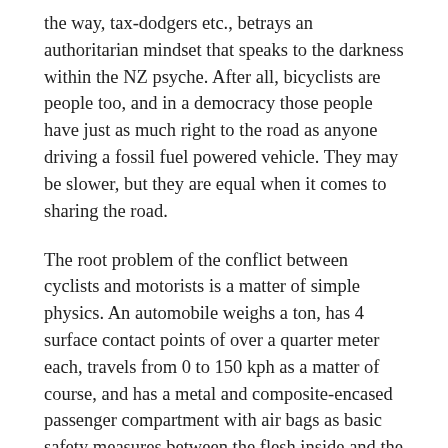the way, tax-dodgers etc., betrays an authoritarian mindset that speaks to the darkness within the NZ psyche. After all, bicyclists are people too, and in a democracy those people have just as much right to the road as anyone driving a fossil fuel powered vehicle. They may be slower, but they are equal when it comes to sharing the road.
The root problem of the conflict between cyclists and motorists is a matter of simple physics. An automobile weighs a ton, has 4 surface contact points of over a quarter meter each, travels from 0 to 150 kph as a matter of course, and has a metal and composite-encased passenger compartment with air bags as basic safety measures between the flesh inside and the kinetic effects of hitting the road or another object at speed on the outside. A bicycle rider has none of those, and is at the mercy of elements, road surfaces, the disposition of motorists and his or her own spatial and situational awareness in order to ensure safe passage during the journey. At the end of the day, cyclist is